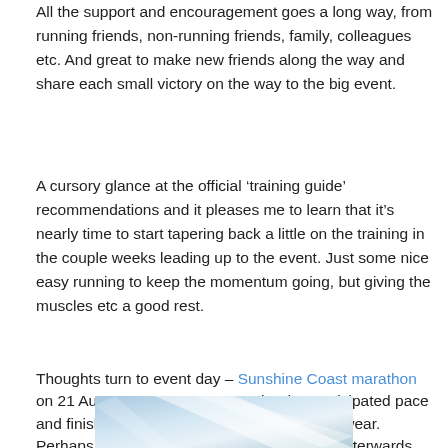All the support and encouragement goes a long way, from running friends, non-running friends, family, colleagues etc. And great to make new friends along the way and share each small victory on the way to the big event.
A cursory glance at the official 'training guide' recommendations and it pleases me to learn that it's nearly time to start tapering back a little on the training in the couple weeks leading up to the event. Just some nice easy running to keep the momentum going, but giving the muscles etc a good rest.
Thoughts turn to event day – Sunshine Coast marathon on 21 August. Race strategy on the day. Anticipated pace and finish time. Weather conditions. What to wear. Perhaps most importantly, How to celebrate afterwards.
[Figure (photo): Partial photo visible at bottom of page showing a diagonal bright stripe or surface, likely an outdoor scene related to marathon running.]